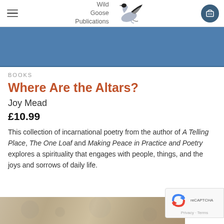Wild Goose Publications
[Figure (illustration): Blue hero banner image strip at top of product page]
BOOKS
Where Are the Altars?
Joy Mead
£10.99
This collection of incarnational poetry from the author of A Telling Place, The One Loaf and Making Peace in Practice and Poetry explores a spirituality that engages with people, things, and the joys and sorrows of daily life.
[Figure (photo): Partial decorative background image at bottom of page]
[Figure (illustration): reCAPTCHA privacy badge in bottom right corner]